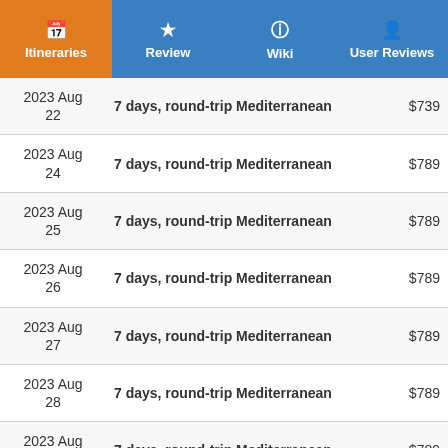Itineraries | Review | Wiki | User Reviews
| Date | Itinerary | Price |
| --- | --- | --- |
| 2023 Aug 22 | 7 days, round-trip Mediterranean | $739 |
| 2023 Aug 24 | 7 days, round-trip Mediterranean | $789 |
| 2023 Aug 25 | 7 days, round-trip Mediterranean | $789 |
| 2023 Aug 26 | 7 days, round-trip Mediterranean | $789 |
| 2023 Aug 27 | 7 days, round-trip Mediterranean | $789 |
| 2023 Aug 28 | 7 days, round-trip Mediterranean | $789 |
| 2023 Aug 29 | 7 days, round-trip Mediterranean | $789 |
| 2023 Aug | 7 days, round-trip Mediterranean | $689 |